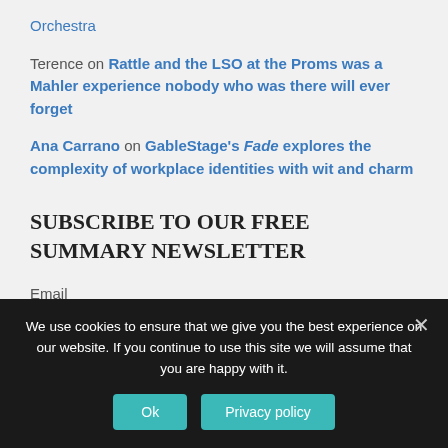Orchestra
Terence on Rattle and the LSO at the Proms was a Mahler experience nobody who was there will ever forget
Ana Carrano on GableStage's Fade explores the complexity of workplace identities with wit and charm
SUBSCRIBE TO OUR FREE SUMMARY NEWSLETTER
Email
We use cookies to ensure that we give you the best experience on our website. If you continue to use this site we will assume that you are happy with it.